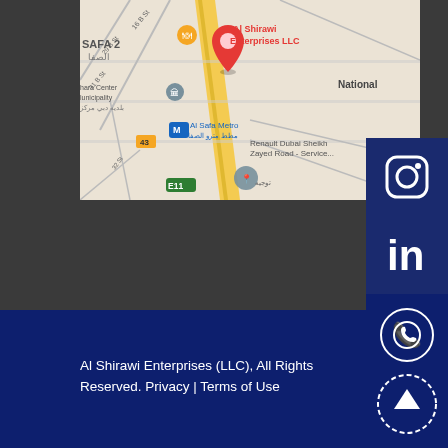[Figure (map): Google Maps screenshot showing Al Shirawi Enterprises LLC location in Al Safa 2, Dubai, near Al Safa Metro station on Sheikh Zayed Road (E11). Map shows street names in Arabic and English, landmarks, and a red pin marking the business location.]
[Figure (infographic): Social media icons sidebar on the right: Instagram, LinkedIn, Facebook icons on dark blue background, followed by WhatsApp and scroll-to-top icons in footer area.]
Al Shirawi Enterprises (LLC), All Rights Reserved. Privacy | Terms of Use